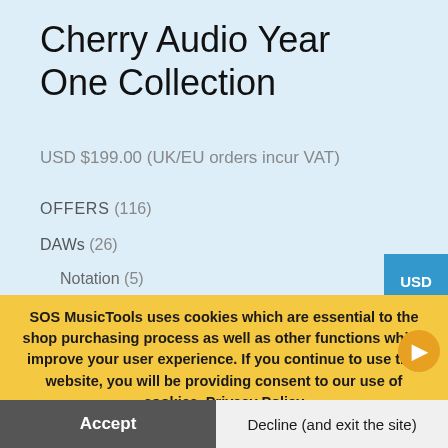Cherry Audio Year One Collection
USD $199.00 (UK/EU orders incur VAT)
OFFERS (116)
DAWs (26)
Notation (5)
SOS MusicTools uses cookies which are essential to the shop purchasing process as well as other functions which improve your user experience. If you continue to use this website, you will be providing consent to our use of cookies. Privacy Policy
Accept
Decline (and exit the site)